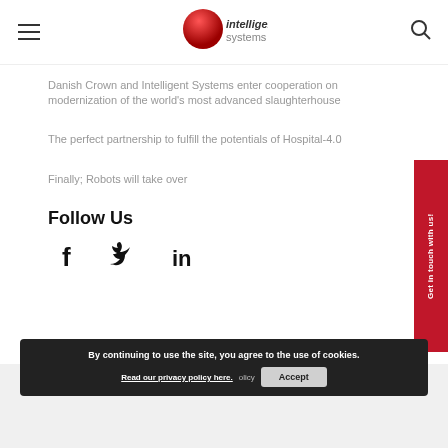intelligent systems — header with hamburger menu and search icon
Danish Crown and Intelligent Systems enter cooperation on modernization of the world's most advanced slaughterhouse
The perfect partnership to fulfill the potentials of Hospital-4.0
Finally; Robots will take over
Follow Us
[Figure (infographic): Social media icons: Facebook (f), Twitter (bird), LinkedIn (in)]
Intelligent Systems A/S • Havnevej 11 • DK-9560 Hadsund • Denmark • Tel: ©2006-2022 Intelligent Systems A/S
By continuing to use the site, you agree to the use of cookies. Read our privacy policy here. Accept